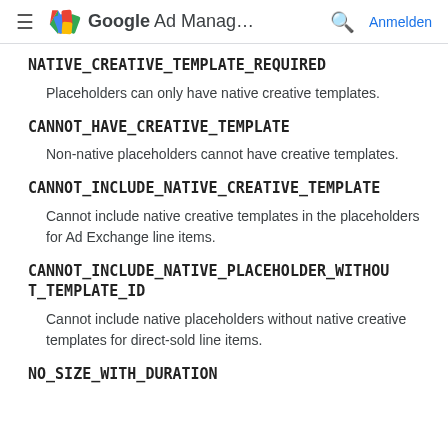Google Ad Manag… Anmelden
NATIVE_CREATIVE_TEMPLATE_REQUIRED
Placeholders can only have native creative templates.
CANNOT_HAVE_CREATIVE_TEMPLATE
Non-native placeholders cannot have creative templates.
CANNOT_INCLUDE_NATIVE_CREATIVE_TEMPLATE
Cannot include native creative templates in the placeholders for Ad Exchange line items.
CANNOT_INCLUDE_NATIVE_PLACEHOLDER_WITHOUT_TEMPLATE_ID
Cannot include native placeholders without native creative templates for direct-sold line items.
NO_SIZE_WITH_DURATION